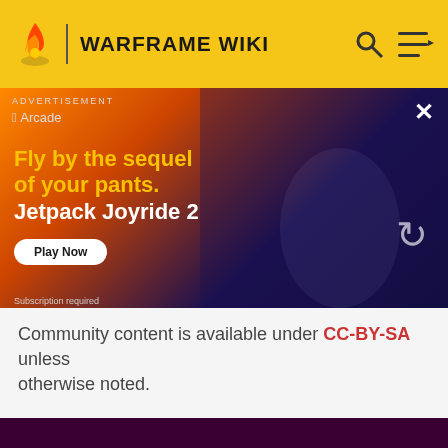WARFRAME WIKI
[Figure (screenshot): Advertisement banner for Jetpack Joyride 2 on Apple Arcade showing game characters flying with jetpacks and weapons over a fiery background]
Community content is available under CC-BY-SA unless otherwise noted.
[Figure (logo): Fandom logo with flame icon in cream/orange color on dark purple background]
EXPLORE PROPERTIES
Fandom
Futhead